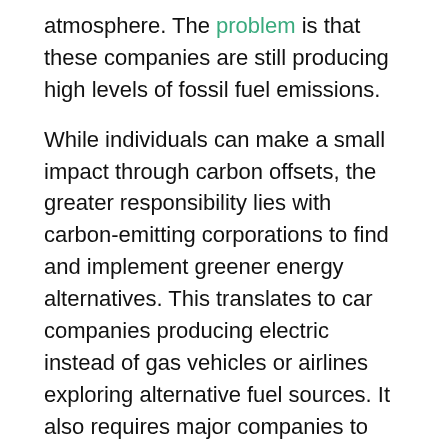atmosphere. The problem is that these companies are still producing high levels of fossil fuel emissions.
While individuals can make a small impact through carbon offsets, the greater responsibility lies with carbon-emitting corporations to find and implement greener energy alternatives. This translates to car companies producing electric instead of gas vehicles or airlines exploring alternative fuel sources. It also requires major companies to rely more on solar and wind energy for their energy needs.
In Our Own Lives
While it's up to corporations to do the heavy lifting of carbon reduction, that doesn't mean